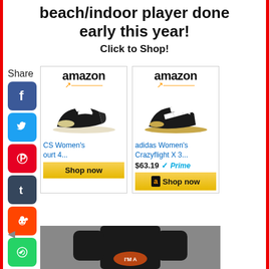beach/indoor player done early this year!
Click to Shop!
Share
[Figure (screenshot): Amazon product card for CS Women's Court 4 volleyball shoe (black/white ASICS) with Shop now button]
[Figure (screenshot): Amazon product card for adidas Women's Crazyflight X 3 volleyball shoe (black/tan) priced at $63.19 with Prime badge and Shop now button]
[Figure (photo): Person wearing a black long-sleeve shirt, cropped at chest level, gray background]